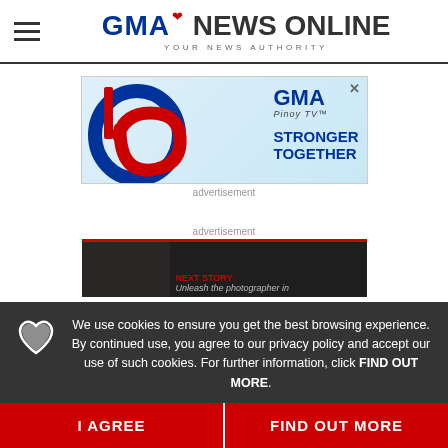GMA NEWS ONLINE — YOUR NEWS AUTHORITY
[Figure (logo): GMA News Online logo with tagline YOUR NEWS AUTHORITY]
[Figure (advertisement): GMA Pinoy TV 16th anniversary ad with STRONGER TOGETHER text and blue/red number 16 graphic]
advertisement
advertisement
[Figure (screenshot): Video thumbnail showing Next Story - Unleash the photographer in]
We use cookies to ensure you get the best browsing experience. By continued use, you agree to our privacy policy and accept our use of such cookies. For further information, click FIND OUT MORE.
I AGREE
FIND OUT MORE